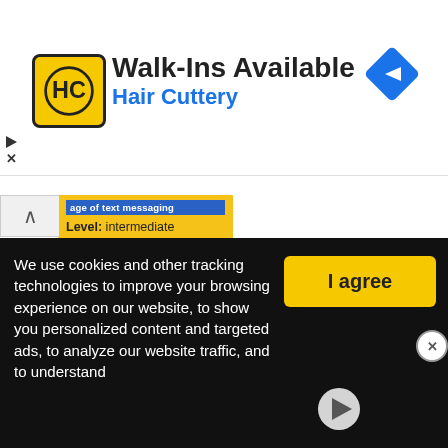[Figure (screenshot): Hair Cuttery advertisement banner with HC logo, 'Walk-Ins Available' headline, 'Hair Cuttery' brand name in blue, and a blue navigation diamond icon on the right]
Level: intermediate
Age: 12-17
Downloads: 487
[Figure (screenshot): Worksheet thumbnail showing 'Meet Margaret Harrison' ESL English Level 1 exercise with green decorative border and student figure illustration]
[Figure (photo): Video thumbnail showing a brown animal (possibly a capybara or similar) with a white play button overlay]
We use cookies and other tracking technologies to improve your browsing experience on our website, to show you personalized content and targeted ads, to analyze our website traffic, and to understand
I agree